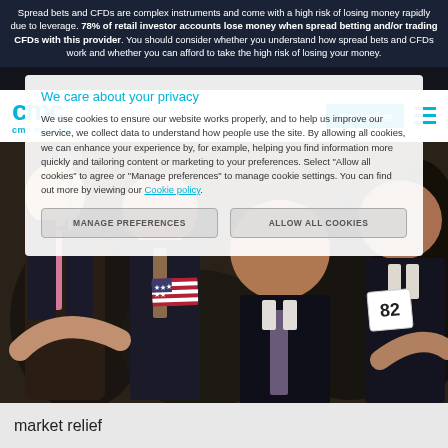Spread bets and CFDs are complex instruments and come with a high risk of losing money rapidly due to leverage. 78% of retail investor accounts lose money when spread betting and/or trading CFDs with this provider. You should consider whether you understand how spread bets and CFDs work and whether you can afford to take the high risk of losing your money.
[Figure (screenshot): CMC Markets website screenshot showing navigation bar with logo, Start trading button, hamburger menu, overlaid by a cookie consent modal. Background shows a photo of stock traders on a trading floor.]
We care about your privacy
We use cookies to ensure our website works properly, and to help us improve our service, we collect data to understand how people use the site. By allowing all cookies, we can enhance your experience by, for example, helping you find information more quickly and tailoring content or marketing to your preferences. Select "Allow all cookies" to agree or "Manage preferences" to manage cookie settings. You can find out more by viewing our Cookie policy.
MANAGE PREFERENCES
ALLOW ALL COOKIES
market relief